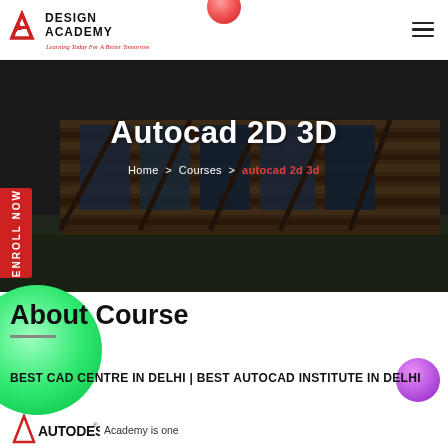[Figure (logo): Design Academy logo with red and dark icon and tagline 'Learning Today For A Better Tomorrow']
[Figure (photo): Hero banner showing modern architectural building with wood and glass facade, dark overlay]
Autocad 2D 3D
Home > Courses > autocad 2d 3d
About Course
BEST CAD CENTRE IN DELHI | BEST AUTOCAD INSTITUTE IN DELHI
[Figure (logo): Autodesk logo (partial) with red triangle A icon and AUTODESK text]
Academy is one